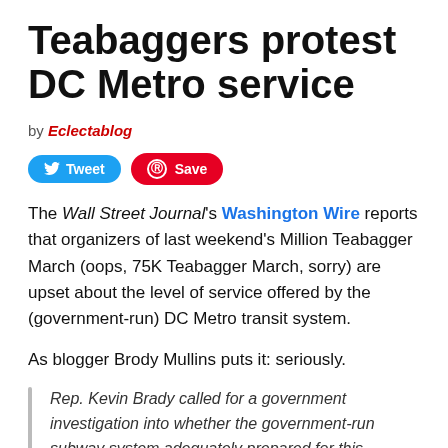Teabaggers protest DC Metro service
by Eclectablog
[Figure (other): Social sharing buttons: Tweet (Twitter/blue) and Save (Pinterest/red)]
The Wall Street Journal's Washington Wire reports that organizers of last weekend's Million Teabagger March (oops, 75K Teabagger March, sorry) are upset about the level of service offered by the (government-run) DC Metro transit system.
As blogger Brody Mullins puts it: seriously.
Rep. Kevin Brady called for a government investigation into whether the government-run subway system adequately prepared for this